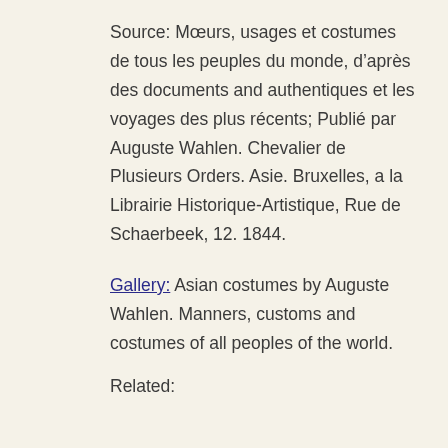Source: Mœurs, usages et costumes de tous les peuples du monde, d'après des documents and authentiques et les voyages des plus récents; Publié par Auguste Wahlen. Chevalier de Plusieurs Orders. Asie. Bruxelles, a la Librairie Historique-Artistique, Rue de Schaerbeek, 12. 1844.
Gallery: Asian costumes by Auguste Wahlen. Manners, customs and costumes of all peoples of the world.
Related: